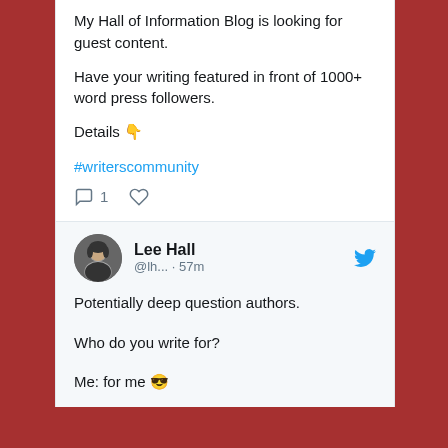My Hall of Information Blog is looking for guest content.

Have your writing featured in front of 1000+ word press followers.

Details 👇

#writerscommunity

💬 1  🤍
Lee Hall @lh... · 57m

Potentially deep question authors.

Who do you write for?

Me: for me 😎